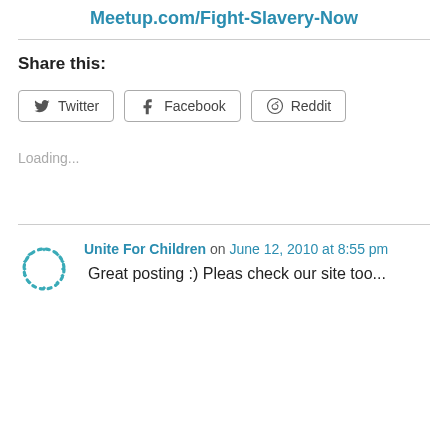Meetup.com/Fight-Slavery-Now
Share this:
Twitter  Facebook  Reddit
Loading...
Unite For Children on June 12, 2010 at 8:55 pm
Great posting :) Pleas check our site too...